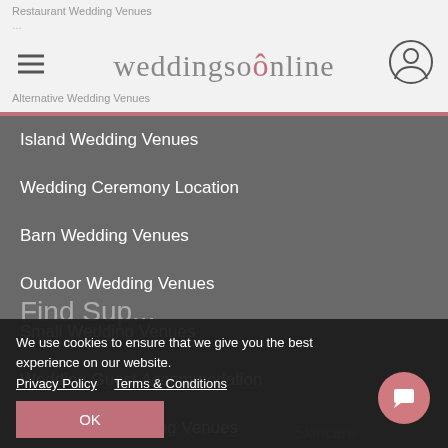[Figure (screenshot): weddingsonline website header with logo, hamburger menu, and user icon]
Island Wedding Venues
Wedding Ceremony Location
Barn Wedding Venues
Outdoor Wedding Venues
Small Wedding Venues
Wedding Guest Accommodation
Destination Wedding Venues
Marquee Hire
We use cookies to ensure that we give you the best experience on our website. Privacy Policy  Terms & Conditions  OK